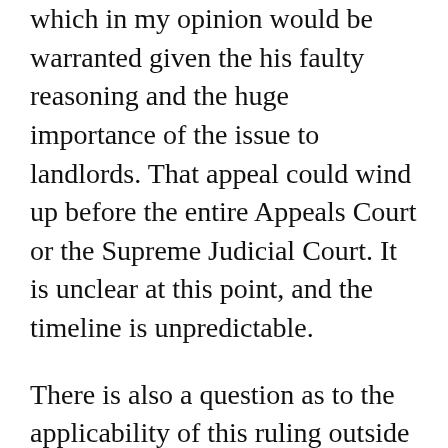which in my opinion would be warranted given the his faulty reasoning and the huge importance of the issue to landlords. That appeal could wind up before the entire Appeals Court or the Supreme Judicial Court. It is unclear at this point, and the timeline is unpredictable.
There is also a question as to the applicability of this ruling outside the parties in the case. The ruling was made in connection with a motion to stay — it is not supposed to be a decision on the merits — although clearly Justice Ditkoff went far past that procedural limitation and said a lot of things about the